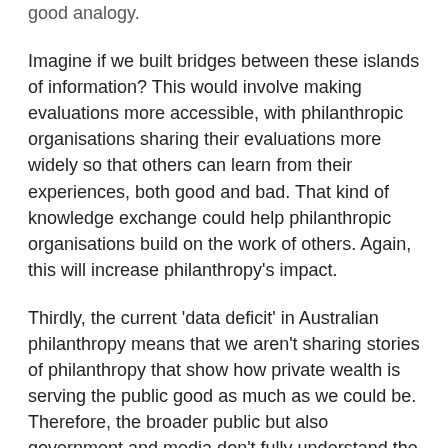good analogy.
Imagine if we built bridges between these islands of information? This would involve making evaluations more accessible, with philanthropic organisations sharing their evaluations more widely so that others can learn from their experiences, both good and bad. That kind of knowledge exchange could help philanthropic organisations build on the work of others. Again, this will increase philanthropy’s impact.
Thirdly, the current ‘data deficit’ in Australian philanthropy means that we aren’t sharing stories of philanthropy that show how private wealth is serving the public good as much as we could be. Therefore, the broader public but also government and media don’t fully understand the transformative work philanthropy does every day in our communities.
It’s not simply a question of ensuring appropriate recognition for philanthropy. Rather, if we want to increase giving in Australia, we need to ensure there is broader awareness about why giving is important and how it can